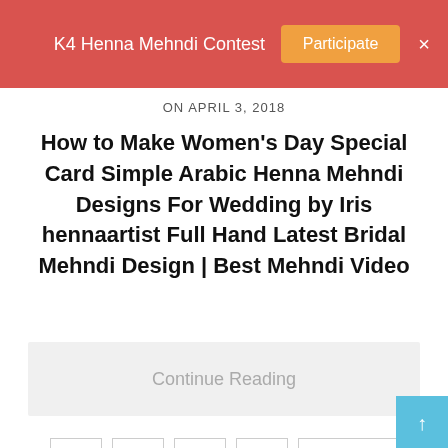K4 Henna Mehndi Contest  Participate  ×
ON APRIL 3, 2018
How to Make Women's Day Special Card Simple Arabic Henna Mehndi Designs For Wedding by Iris hennaartist Full Hand Latest Bridal Mehndi Design | Best Mehndi Video
Continue Reading
1
2
...
7
Next →